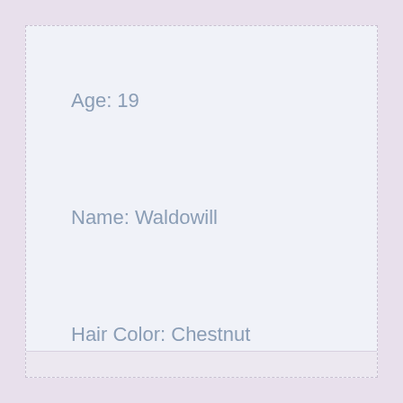Age: 19
Name: Waldowill
Hair Color: Chestnut
City: Kihei, Hawaii
[Figure (other): Small thumbnail photo icon and a green info icon]